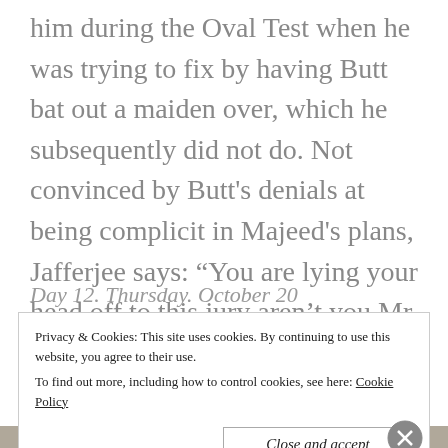him during the Oval Test when he was trying to fix by having Butt bat out a maiden over, which he subsequently did not do. Not convinced by Butt's denials at being complicit in Majeed's plans, Jafferjee says: “You are lying your head off to this jury aren’t you Mr Butt?”
Day 12. Thursday. October 20
Privacy & Cookies: This site uses cookies. By continuing to use this website, you agree to their use.
To find out more, including how to control cookies, see here: Cookie Policy